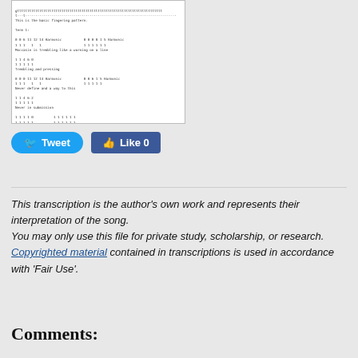[Figure (screenshot): A screenshot of guitar tablature/sheet music content showing fret numbers and chords, with sections labeled including 'Term 1:', various harmonic patterns, and descriptions like 'Resembling and pressing', 'Never the millstone', etc.]
[Figure (screenshot): Social media buttons: Tweet button (blue, Twitter) and Like 0 button (blue, Facebook)]
This transcription is the author's own work and represents their interpretation of the song.
You may only use this file for private study, scholarship, or research.
Copyrighted material contained in transcriptions is used in accordance with 'Fair Use'.
Comments: